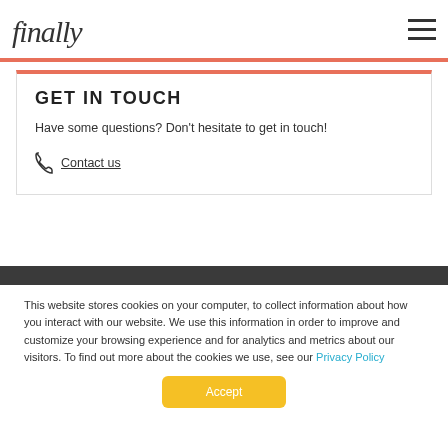finally
GET IN TOUCH
Have some questions? Don't hesitate to get in touch!
Contact us
This website stores cookies on your computer, to collect information about how you interact with our website. We use this information in order to improve and customize your browsing experience and for analytics and metrics about our visitors. To find out more about the cookies we use, see our Privacy Policy
Accept